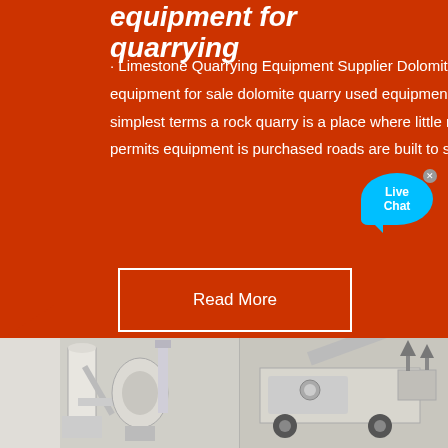equipment for quarrying
· Limestone Quarrying Equipment Supplier Dolomite Limestone Equipment For Quarrying dolomite quarry equipment for sale dolomite quarry used equipment Dolomite limestone equipment for quarrying In the simplest terms a rock quarry is a place where little rocks are made from big Once we obtain the proper permits equipment is purchased roads are built to shales mechanical limestone and .
Read More
[Figure (photo): Industrial quarrying machines and equipment including mills and mobile crushers]